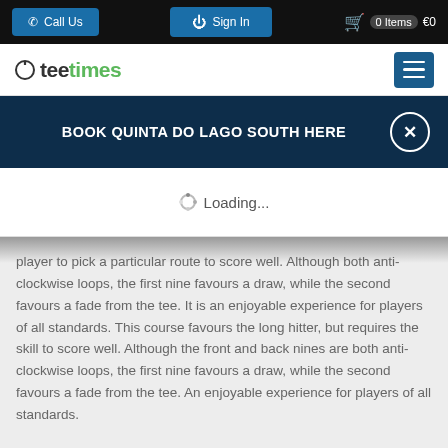Call Us | Sign In | 0 Items €0
[Figure (logo): teetimes logo with power icon]
BOOK QUINTA DO LAGO SOUTH HERE
Loading...
player to pick a particular route to score well. Although both anti-clockwise loops, the first nine favours a draw, while the second favours a fade from the tee. It is an enjoyable experience for players of all standards. This course favours the long hitter, but requires the skill to score well. Although the front and back nines are both anti-clockwise loops, the first nine favours a draw, while the second favours a fade from the tee. An enjoyable experience for players of all standards.